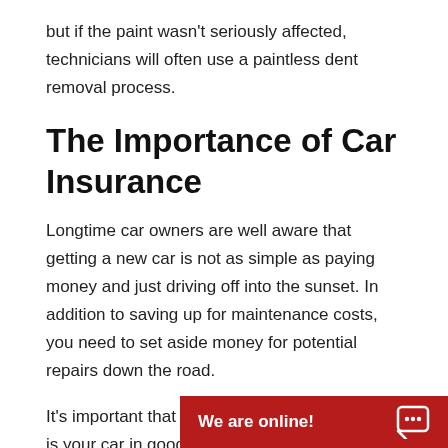but if the paint wasn't seriously affected, technicians will often use a paintless dent removal process.
The Importance of Car Insurance
Longtime car owners are well aware that getting a new car is not as simple as paying money and just driving off into the sunset. In addition to saving up for maintenance costs, you need to set aside money for potential repairs down the road.
It's important that you make sure that not only is your car in good working condition but also maintaining its appearance. In the event of a collision, insurance companies will consider whether or not the vehicle ha